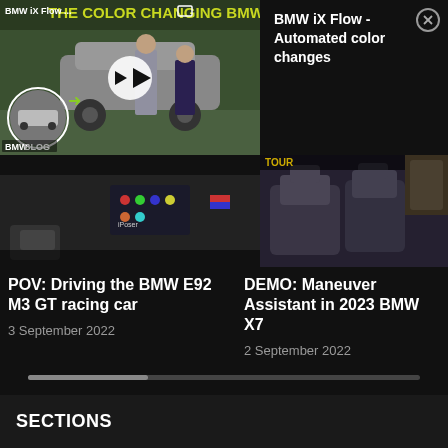[Figure (screenshot): BMW iX Flow color changing car video thumbnail with play button overlay, showing two people standing next to a BMW iX Flow car, BMWBLOG watermark]
BMW iX Flow - Automated color changes
[Figure (screenshot): Dark video thumbnail showing interior/car footage]
[Figure (screenshot): Dark video thumbnail showing car interior with seats]
POV: Driving the BMW E92 M3 GT racing car
3 September 2022
DEMO: Maneuver Assistant in 2023 BMW X7
2 September 2022
SECTIONS